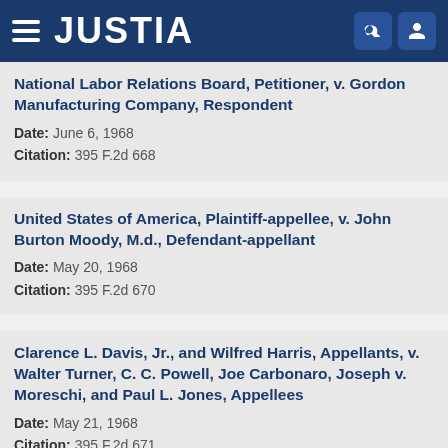JUSTIA
National Labor Relations Board, Petitioner, v. Gordon Manufacturing Company, Respondent
Date: June 6, 1968
Citation: 395 F.2d 668
United States of America, Plaintiff-appellee, v. John Burton Moody, M.d., Defendant-appellant
Date: May 20, 1968
Citation: 395 F.2d 670
Clarence L. Davis, Jr., and Wilfred Harris, Appellants, v. Walter Turner, C. C. Powell, Joe Carbonaro, Joseph v. Moreschi, and Paul L. Jones, Appellees
Date: May 21, 1968
Citation: 395 F.2d 671